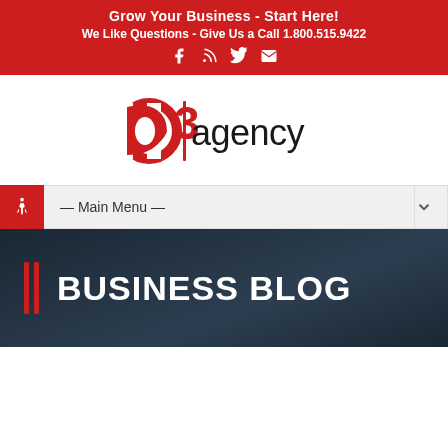Grow Your Business - Start Here! We Like Questions - Give Us a Call 1.800.515.9422
[Figure (logo): D3 Agency logo with red D3 letters and black 'agency' text]
— Main Menu —
BUSINESS BLOG